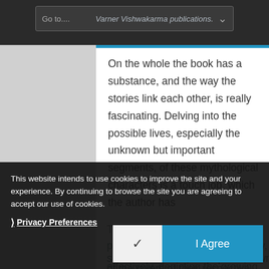[Figure (screenshot): Screenshot of a webpage showing a book review with a 'Go to...' navigation dropdown and a cookie consent banner overlay with 'Privacy Preferences' link and 'I Agree' button.]
Go to.... Varner Vishwakarma publications.
On the whole the book has a substance, and the way the stories link each other, is really fascinating. Delving into the possible lives, especially the unknown but important segments, of these mythological characters is a touch job, which the author has
This website intends to use cookies to improve the site and your experience. By continuing to browse the site you are agreeing to accept our use of cookies.
❯ Privacy Preferences
✓   I Agree
The author has the imagination power, and even more importantly, she mastered the art to pen it down effectively, depicting the growing... each of the layers of their respective